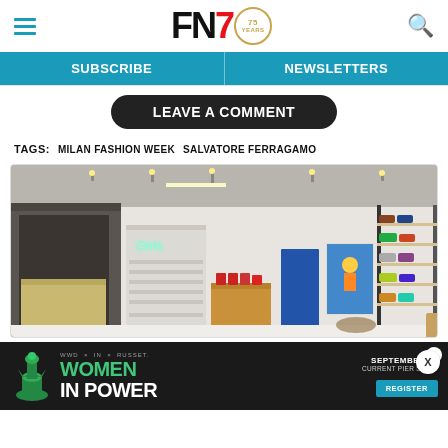FN7 — Footwear News logo with hamburger menu and search icon
SUBSCRIBE | NEWSLETTERS
LEAVE A COMMENT
TAGS:   MILAN FASHION WEEK   SALVATORE FERRAGAMO
[Figure (photo): Interior of a modern sneaker/shoe retail store with grey concrete walls, track lighting, display shelves with sneakers on the right wall, a wooden display counter in the center, staircase in the background, and neon signage reading 'Girls'. Digital screens and product displays are visible throughout.]
WWD × IN × RUSSET. WOMEN IN POWER. SEPTEMBER 13. CURRENT PIER 59, NY. REGISTER